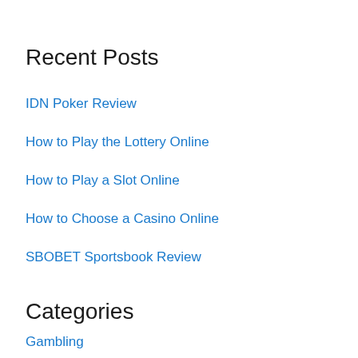Recent Posts
IDN Poker Review
How to Play the Lottery Online
How to Play a Slot Online
How to Choose a Casino Online
SBOBET Sportsbook Review
Categories
Gambling